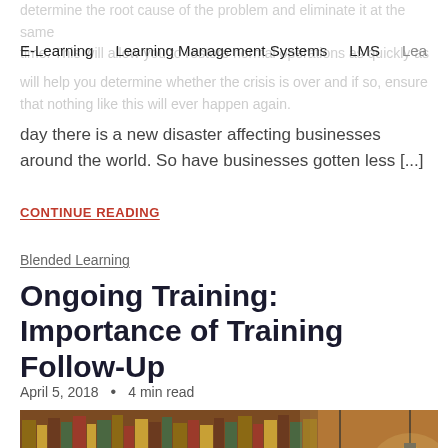E-Learning   Learning Management Systems   LMS   Lea…
day there is a new disaster affecting businesses around the world. So have businesses gotten less [...]
CONTINUE READING
Blended Learning
Ongoing Training: Importance of Training Follow-Up
April 5, 2018  •  4 min read
[Figure (photo): Photo of a library bookshelf with hanging Edison-style light bulbs, warm brown tones]